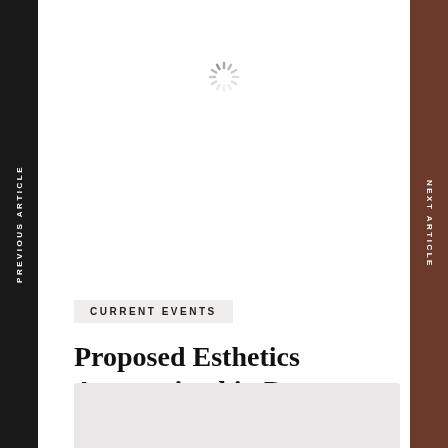[Figure (other): Loading spinner icon (animated spinner graphic) centered near top of page]
PREVIOUS ARTICLE
NEXT ARTICLE
CURRENT EVENTS
Proposed Esthetics Apprenticeship Program
[Figure (photo): Partial image visible at bottom of page, light gray background]